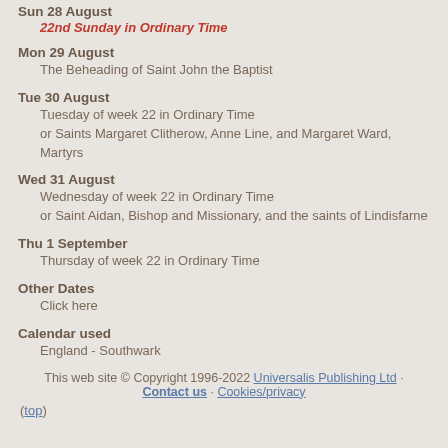Sun 28 August
22nd Sunday in Ordinary Time
Mon 29 August
The Beheading of Saint John the Baptist
Tue 30 August
Tuesday of week 22 in Ordinary Time
or Saints Margaret Clitherow, Anne Line, and Margaret Ward, Martyrs
Wed 31 August
Wednesday of week 22 in Ordinary Time
or Saint Aidan, Bishop and Missionary, and the saints of Lindisfarne
Thu 1 September
Thursday of week 22 in Ordinary Time
Other Dates
Click here
Calendar used
England - Southwark
This web site © Copyright 1996-2022 Universalis Publishing Ltd · Contact us · Cookies/privacy
(top)